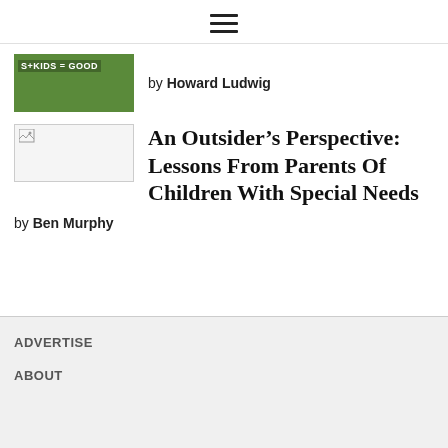≡
[Figure (photo): Thumbnail image with green background showing children; overlay text reads 'S+KIDS = GOOD']
by Howard Ludwig
[Figure (photo): Broken/placeholder image icon thumbnail]
An Outsider's Perspective: Lessons From Parents Of Children With Special Needs
by Ben Murphy
ADVERTISE
ABOUT